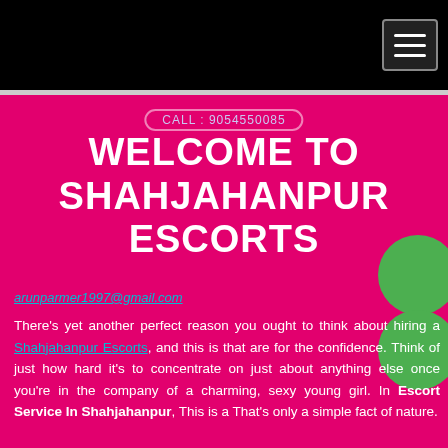CALL : 9054550085
WELCOME TO SHAHJAHANPUR ESCORTS
arunparmer1997@gmail.com
There's yet another perfect reason you ought to think about hiring a Shahjahanpur Escorts, and this is that are for the confidence. Think of just how hard it's to concentrate on just about anything else once you're in the company of a charming, sexy young girl. In Escort Service In Shahjahanpur, This is a That's only a simple fact of nature.